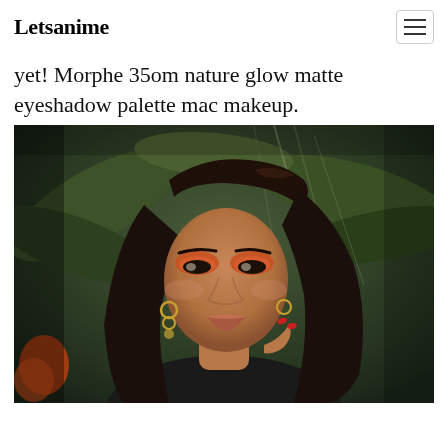Letsanime
yet! Morphe 35om nature glow matte eyeshadow palette mac makeup.
[Figure (photo): A woman with dark hair and dramatic orange eyeshadow makeup, wearing gold earrings, photographed in front of large tropical leaves. She is touching her face with red-nailed fingers.]